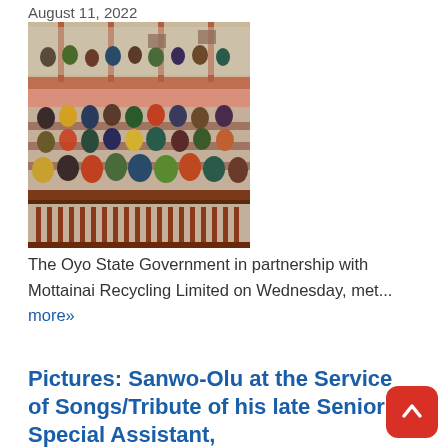August 11, 2022
[Figure (photo): A large indoor hall with many people seated in rows of dark wooden benches, viewed from an elevated angle. Two levels visible with people in colorful attire.]
The Oyo State Government in partnership with Mottainai Recycling Limited on Wednesday, met... more»
Pictures: Sanwo-Olu at the Service of Songs/Tribute of his late Senior Special Assistant,